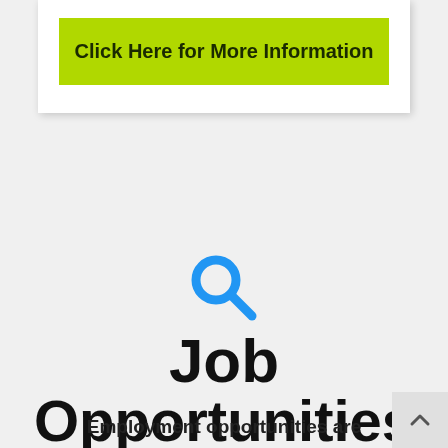Click Here for More Information
[Figure (illustration): Blue magnifying glass search icon]
Job Opportunities
Employment opportunities are